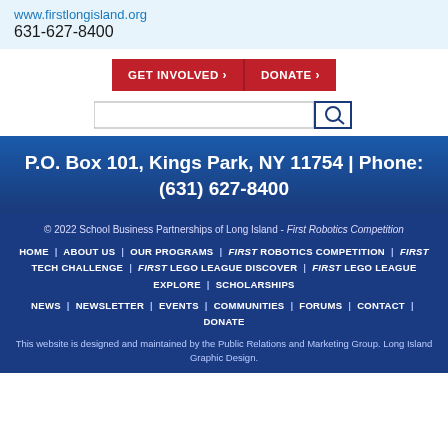www.firstlongisland.org
631-627-8400
GET INVOLVED › | DONATE ›
P.O. Box 101, Kings Park, NY 11754 | Phone: (631) 627-8400
© 2022 School Business Partnerships of Long Island - First Robotics Competition
HOME | ABOUT US | OUR PROGRAMS | FIRST ROBOTICS COMPETITION | FIRST TECH CHALLENGE | FIRST LEGO LEAGUE DISCOVER | FIRST LEGO LEAGUE EXPLORE | SCHOLARSHIPS
NEWS | NEWSLETTER | EVENTS | COMMUNITIES | FORUMS | CONTACT | DONATE
This website is designed and maintained by the Public Relations and Marketing Group. Long Island Graphic Design.